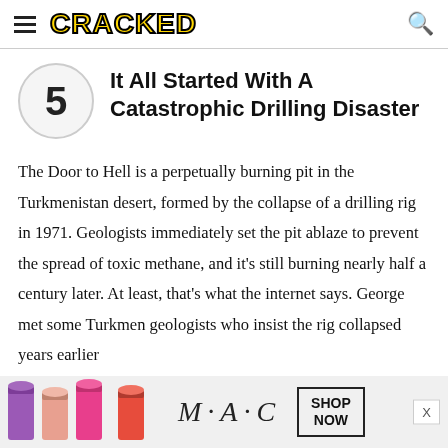CRACKED
5 — It All Started With A Catastrophic Drilling Disaster
The Door to Hell is a perpetually burning pit in the Turkmenistan desert, formed by the collapse of a drilling rig in 1971. Geologists immediately set the pit ablaze to prevent the spread of toxic methane, and it's still burning nearly half a century later. At least, that's what the internet says. George met some Turkmen geologists who insist the rig collapsed years earlier
[Figure (screenshot): MAC Cosmetics advertisement banner showing lipsticks in purple, pink, and red with MAC logo and SHOP NOW button]